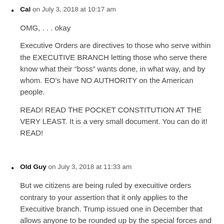Cal on July 3, 2018 at 10:17 am
OMG, . . . okay
Executive Orders are directives to those who serve within the EXECUTIVE BRANCH letting those who serve there know what their “boss” wants done, in what way, and by whom. EO’s have NO AUTHORITY on the American people.
READ! READ THE POCKET CONSTITUTION AT THE VERY LEAST. It is a very small document. You can do it! READ!
Old Guy on July 3, 2018 at 11:33 am
But we citizens are being ruled by execuitive orders contrary to your assertion that it only applies to the Execuitive branch. Trump issued one in December that allows anyone to be rounded up by the special forces and locked away at GITMO. There is no way the clause that